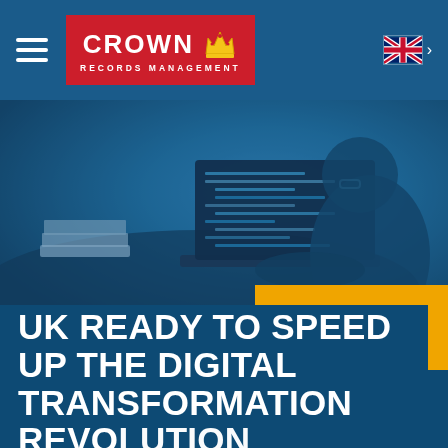Crown Records Management — navigation bar with hamburger menu and UK flag language selector
[Figure (photo): Blue-tinted photograph of a person working on a laptop with code on the screen, a book on the table beside them, with orange bracket accent graphics in the lower right of the image area]
UK READY TO SPEED UP THE DIGITAL TRANSFORMATION REVOLUTION